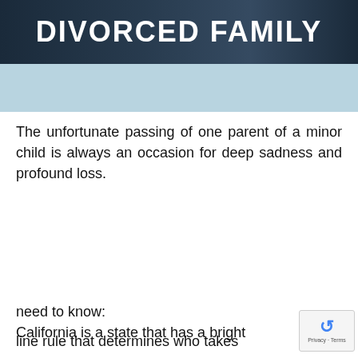DIVORCED FAMILY
[Figure (photo): Dark blue banner header with photo of people in background and bold white text reading DIVORCED FAMILY]
The unfortunate passing of one parent of a minor child is always an occasion for deep sadness and profound loss.
[Figure (infographic): Dark popup overlay with text: Use our California Child Support Calculator to calculate estimated child support payments for California. With a Learn More button and an X close button.]
need to know:
California is a state that has a bright line rule that determines who takes...